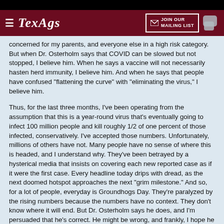TexAgs — JOIN OUR MAILING LIST
concerned for my parents, and everyone else in a high risk category. But when Dr. Osterholm says that COVID can be slowed but not stopped, I believe him. When he says a vaccine will not necessarily hasten herd immunity, I believe him. And when he says that people have confused "flattening the curve" with "eliminating the virus," I believe him.
Thus, for the last three months, I've been operating from the assumption that this is a year-round virus that's eventually going to infect 100 million people and kill roughly 1/2 of one percent of those infected, conservatively. I've accepted those numbers. Unfortunately, millions of others have not. Many people have no sense of where this is headed, and I understand why. They've been betrayed by a hysterical media that insists on covering each new reported case as if it were the first case. Every headline today drips with dread, as the next doomed hotspot approaches the next "grim milestone." And so, for a lot of people, everyday is Groundhogs Day. They're paralyzed by the rising numbers because the numbers have no context. They don't know where it will end. But Dr. Osterholm says he does, and I'm persuaded that he's correct. He might be wrong, and frankly, I hope he is, but either way, he's presented us with a set of projections based on